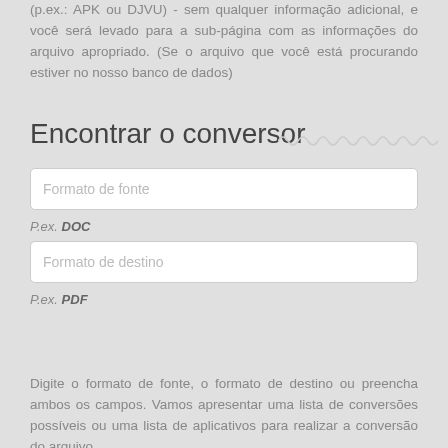(p.ex.: APK ou DJVU) - sem qualquer informação adicional, e você será levado para a sub-página com as informações do arquivo apropriado. (Se o arquivo que você está procurando estiver no nosso banco de dados)
Encontrar o conversor
[Figure (screenshot): Input field labeled 'Formato de fonte']
P.ex. DOC
[Figure (screenshot): Input field labeled 'Formato de destino']
P.ex. PDF
[Figure (screenshot): Red button labeled 'Pesquisar']
Digite o formato de fonte, o formato de destino ou preencha ambos os campos. Vamos apresentar uma lista de conversões possíveis ou uma lista de aplicativos para realizar a conversão do arquivo.